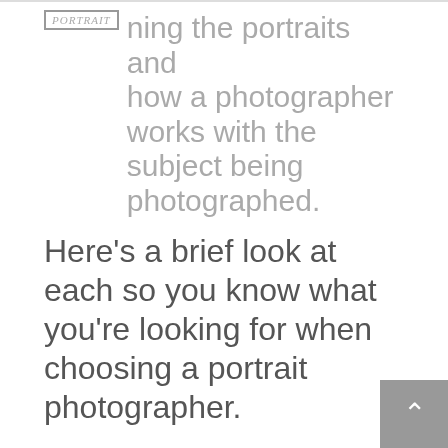PORTRAIT — ning the portrait and how a photographer works with the subject being photographed.
Here's a brief look at each so you know what you're looking for when choosing a portrait photographer.
LIGHTING
Lighting can be the difference between an ok picture and a GREAT portrait. Lighting creates depth with the highlights and shadows, it can set the mood for a portrait and it can...